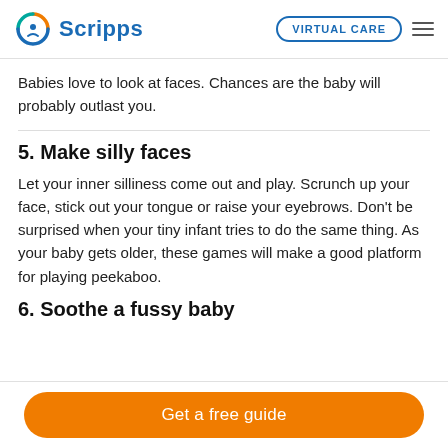Scripps | VIRTUAL CARE
Babies love to look at faces. Chances are the baby will probably outlast you.
5. Make silly faces
Let your inner silliness come out and play. Scrunch up your face, stick out your tongue or raise your eyebrows. Don’t be surprised when your tiny infant tries to do the same thing. As your baby gets older, these games will make a good platform for playing peekaboo.
6. Soothe a fussy baby
Get a free guide